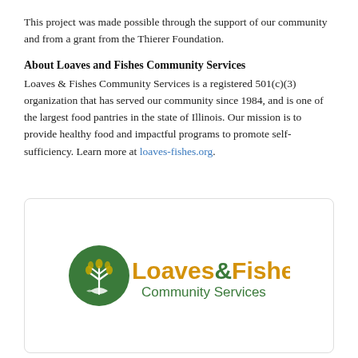This project was made possible through the support of our community and from a grant from the Thierer Foundation.
About Loaves and Fishes Community Services
Loaves & Fishes Community Services is a registered 501(c)(3) organization that has served our community since 1984, and is one of the largest food pantries in the state of Illinois. Our mission is to provide healthy food and impactful programs to promote self-sufficiency. Learn more at loaves-fishes.org.
[Figure (logo): Loaves & Fishes Community Services logo: green circle with wheat/fish symbol, orange 'Loaves&Fishes' text and green 'Community Services' text]